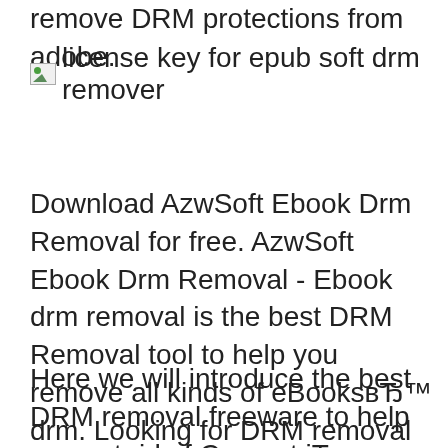remove DRM protections from adobe.
[Figure (other): Broken image placeholder with label: license key for epub soft drm remover]
Download AzwSoft Ebook Drm Removal for free. AzwSoft Ebook Drm Removal - Ebook drm removal is the best DRM Removal tool to help you remove all kinds of eBooksвЂ™ drm. Looking for DRM removal software? Top 5 DRM Removal Programs Share Pin Email Print Eternity in an Instant / Getty Images Software & Apps. Video & Audio
Here we will introduce the best DRM removal freeware to help you get rid of Convert iTunes eBook; 4. FairUse4WM -